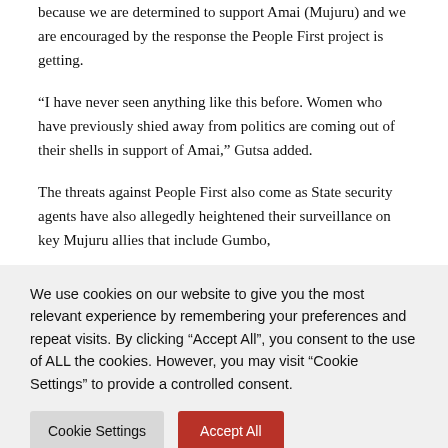because we are determined to support Amai (Mujuru) and we are encouraged by the response the People First project is getting.
“I have never seen anything like this before. Women who have previously shied away from politics are coming out of their shells in support of Amai,” Gutsa added.
The threats against People First also come as State security agents have also allegedly heightened their surveillance on key Mujuru allies that include Gumbo,
We use cookies on our website to give you the most relevant experience by remembering your preferences and repeat visits. By clicking “Accept All”, you consent to the use of ALL the cookies. However, you may visit "Cookie Settings" to provide a controlled consent.